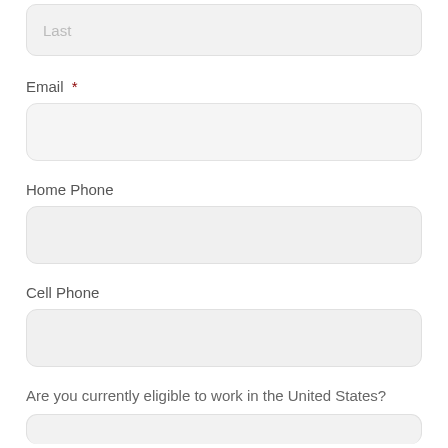[Figure (other): Form input field for Last name, shown as a rounded rectangle with placeholder text 'Last']
Email *
[Figure (other): Empty form input field for Email, shown as a rounded rectangle]
Home Phone
[Figure (other): Empty form input field for Home Phone, shown as a rounded rectangle]
Cell Phone
[Figure (other): Empty form input field for Cell Phone, shown as a rounded rectangle]
Are you currently eligible to work in the United States?
[Figure (other): Partial form input field at bottom of page]